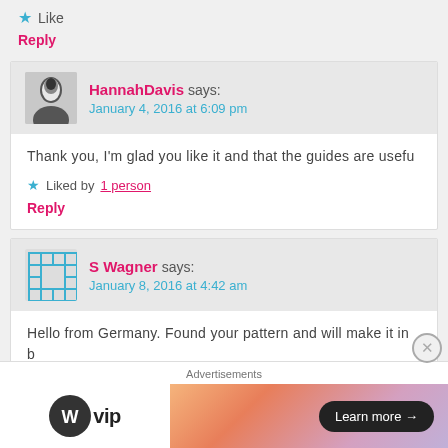★ Like
Reply
HannahDavis says: January 4, 2016 at 6:09 pm
Thank you, I'm glad you like it and that the guides are usefu
★ Liked by 1 person
Reply
S Wagner says: January 8, 2016 at 4:42 am
Hello from Germany. Found your pattern and will make it in b Thank you for your great idea.
Advertisements
[Figure (logo): WordPress VIP logo with WP circle icon and 'vip' text]
[Figure (infographic): Advertisement banner with gradient background (orange to purple) and Learn more button]